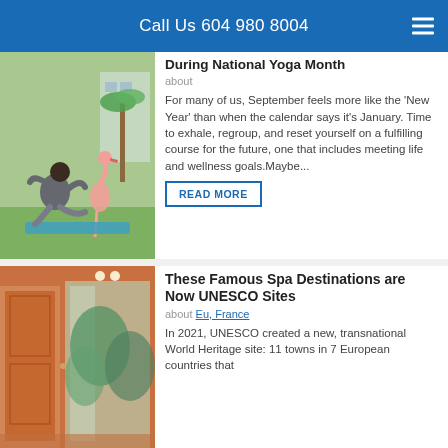Call Us 604 980 8004
During National Yoga Month
about
For many of us, September feels more like the 'New Year' than when the calendar says it's January. Time to exhale, regroup, and reset yourself on a fulfilling course for the future, one that includes meeting life and wellness goals.Maybe...
READ MORE
[Figure (photo): Woman doing yoga outdoors with a flamingo nearby on green grass]
These Famous Spa Destinations are Now UNESCO Sites
about Eu, France
In 2021, UNESCO created a new, transnational World Heritage site: 11 towns in 7 European countries that
[Figure (photo): Interior view of a spa destination with orange walls and glass doors opening to greenery]